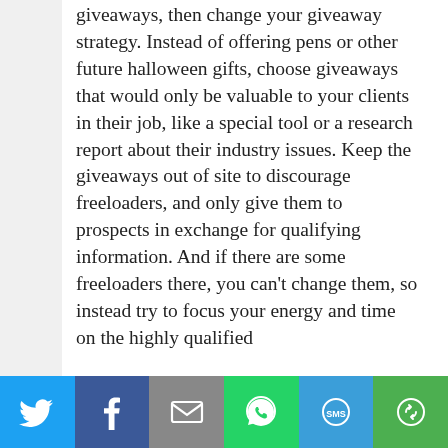giveaways, then change your giveaway strategy. Instead of offering pens or other future halloween gifts, choose giveaways that would only be valuable to your clients in their job, like a special tool or a research report about their industry issues. Keep the giveaways out of site to discourage freeloaders, and only give them to prospects in exchange for qualifying information. And if there are some freeloaders there, you can't change them, so instead try to focus your energy and time on the highly qualified
ACCEPT  We use cookies to personalize our web content and analyze our traffic. We share this information with Skyline dealers who may combine it with information you provided them
[Figure (infographic): Social sharing bar with six icons: Twitter (blue), Facebook (dark blue), Email/envelope (grey), WhatsApp (green), SMS (blue), and a circular arrow/share icon (green)]